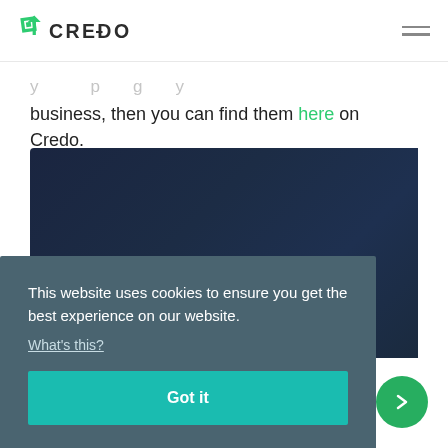[Figure (logo): Credo logo with green geometric icon and CREDO wordmark]
business, then you can find them here on Credo.
[Figure (screenshot): Dark blue banner with bold white text 'What Is Credo?']
This website uses cookies to ensure you get the best experience on our website. What's this?
Got it